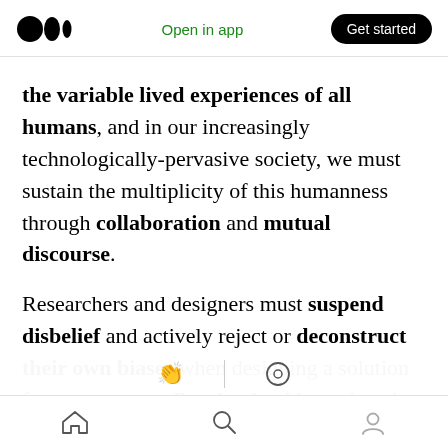Medium logo | Open in app | Get started
the variable lived experiences of all humans, and in our increasingly technologically-pervasive society, we must sustain the multiplicity of this humanness through collaboration and mutual discourse.

Researchers and designers must suspend disbelief and actively reject or deconstruct their own biases when designing a solution for a user group. Results should not skew in favor of the designers' desires. Errors are inevitable and must be respected, the formal methods involved with deconstructing biases are found
Home | Search | Profile